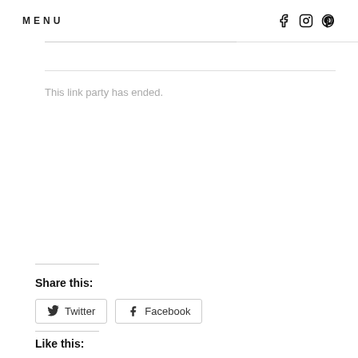MENU   f  ig  p
This link party has ended.
Share this:
Twitter   Facebook
Like this: